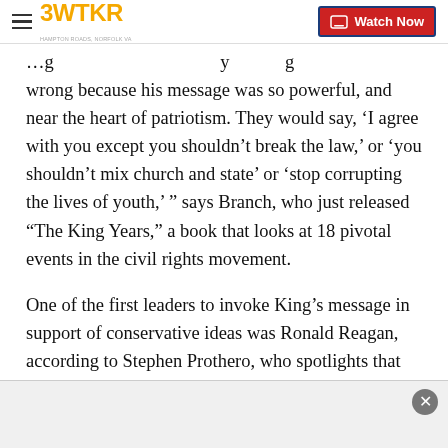3WTKR | Watch Now
wrong because his message was so powerful, and near the heart of patriotism. They would say, ‘I agree with you except you shouldn’t break the law,’ or ‘you shouldn’t mix church and state’ or ‘stop corrupting the lives of youth,’ ” says Branch, who just released “The King Years,” a book that looks at 18 pivotal events in the civil rights movement.
One of the first leaders to invoke King’s message in support of conservative ideas was Ronald Reagan, according to Stephen Prothero, who spotlights that … in his book “The American Bible” which